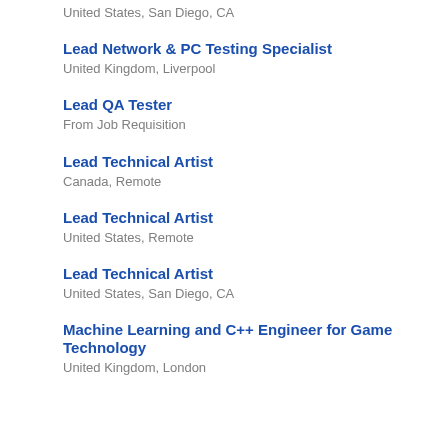United States, San Diego, CA
Lead Network & PC Testing Specialist
United Kingdom, Liverpool
Lead QA Tester
From Job Requisition
Lead Technical Artist
Canada, Remote
Lead Technical Artist
United States, Remote
Lead Technical Artist
United States, San Diego, CA
Machine Learning and C++ Engineer for Game Technology
United Kingdom, London